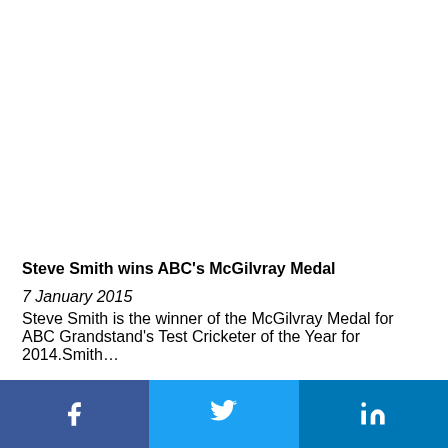Steve Smith wins ABC's McGilvray Medal
7 January 2015
Steve Smith is the winner of the McGilvray Medal for ABC Grandstand's Test Cricketer of the Year for 2014.Smith…